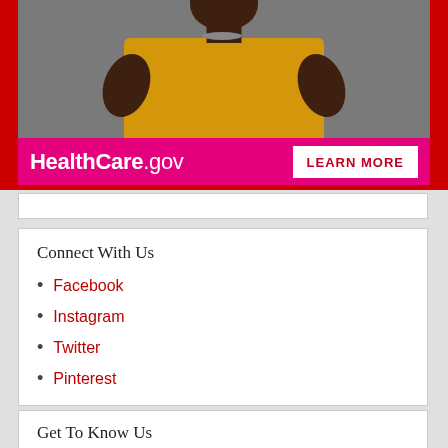[Figure (photo): Photo of a woman in a yellow shirt with a gray background, part of a HealthCare.gov advertisement banner]
HealthCare.gov  LEARN MORE
Connect With Us
Facebook
Instagram
Twitter
Pinterest
Get To Know Us
About Us